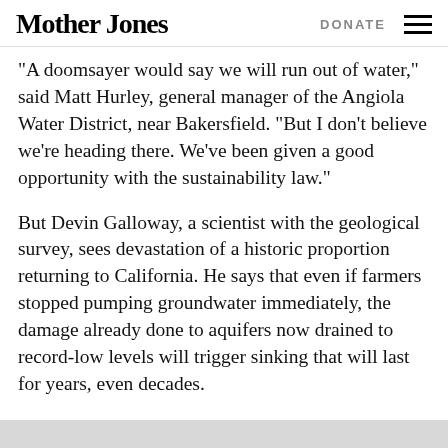Mother Jones | DONATE
“A doomsayer would say we will run out of water,” said Matt Hurley, general manager of the Angiola Water District, near Bakersfield. “But I don’t believe we’re heading there. We’ve been given a good opportunity with the sustainability law.”
But Devin Galloway, a scientist with the geological survey, sees devastation of a historic proportion returning to California. He says that even if farmers stopped pumping groundwater immediately, the damage already done to aquifers now drained to record-low levels will trigger sinking that will last for years, even decades.